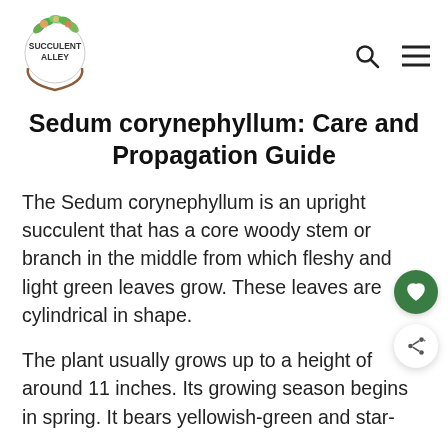Succulent Alley [logo with navigation search and menu icons]
Sedum corynephyllum: Care and Propagation Guide
The Sedum corynephyllum is an upright succulent that has a core woody stem or branch in the middle from which fleshy and light green leaves grow. These leaves are cylindrical in shape.
The plant usually grows up to a height of around 11 inches. Its growing season begins in spring. It bears yellowish-green and star-